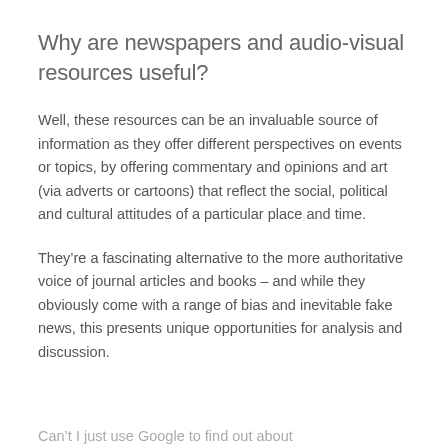Why are newspapers and audio-visual resources useful?
Well, these resources can be an invaluable source of information as they offer different perspectives on events or topics, by offering commentary and opinions and art (via adverts or cartoons) that reflect the social, political and cultural attitudes of a particular place and time.
They’re a fascinating alternative to the more authoritative voice of journal articles and books – and while they obviously come with a range of bias and inevitable fake news, this presents unique opportunities for analysis and discussion.
Can’t I just use Google to find out about